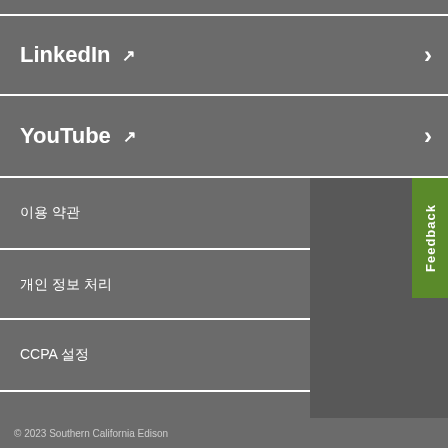LinkedIn ↗ >
YouTube ↗ >
이용 약관
개인 정보 처리
CCPA 설정
접근성에 대해
© 2023 Southern California Edison